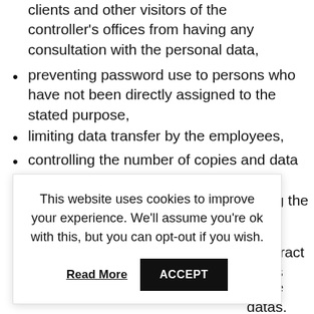clients and other visitors of the controller's offices from having any consultation with the personal data,
preventing password use to persons who have not been directly assigned to the stated purpose,
limiting data transfer by the employees,
controlling the number of copies and data transfer,
limiting, documenting and securing the ...
This website uses cookies to improve your experience. We'll assume you're ok with this, but you can opt-out if you wish.
Read More  ACCEPT